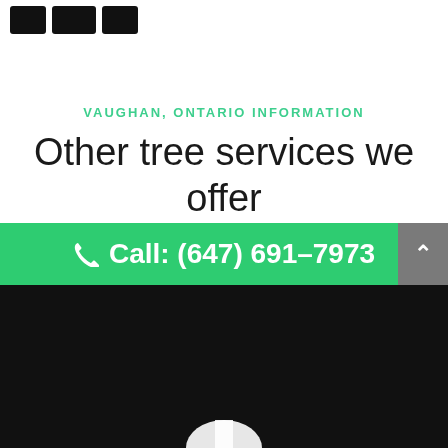[Figure (other): Three dark social media icon buttons (Facebook, LinkedIn/other, arrow/other) in top left]
VAUGHAN, ONTARIO INFORMATION
Other tree services we offer in Vaughan
Call: (647) 691-7973
[Figure (photo): Dark/black footer area with partial white logo or illustration at bottom center]